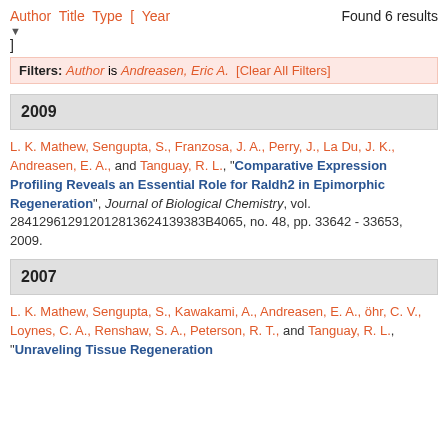Author Title Type [ Year ] Found 6 results
Filters: Author is Andreasen, Eric A. [Clear All Filters]
2009
L. K. Mathew, Sengupta, S., Franzosa, J. A., Perry, J., La Du, J. K., Andreasen, E. A., and Tanguay, R. L., "Comparative Expression Profiling Reveals an Essential Role for Raldh2 in Epimorphic Regeneration", Journal of Biological Chemistry, vol. 284129612912012813624139383B4065, no. 48, pp. 33642 - 33653, 2009.
2007
L. K. Mathew, Sengupta, S., Kawakami, A., Andreasen, E. A., öhr, C. V., Loynes, C. A., Renshaw, S. A., Peterson, R. T., and Tanguay, R. L., "Unraveling Tissue Regeneration...